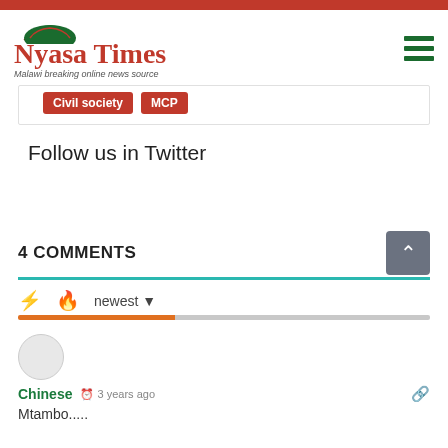[Figure (logo): Nyasa Times logo with red arc/fan icon and red serif text, tagline: Malawi breaking online news source]
Civil society
MCP
Follow us in Twitter
4 COMMENTS
newest
Chinese  3 years ago
Mtambo.....